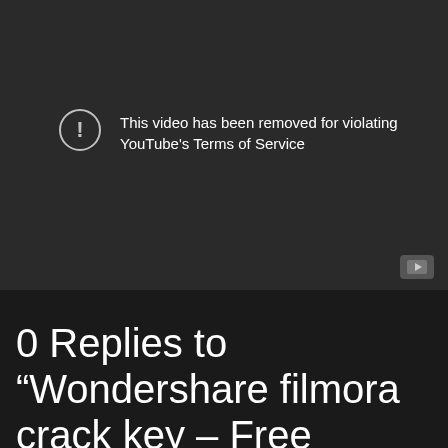[Figure (screenshot): YouTube video player showing error message: 'This video has been removed for violating YouTube's Terms of Service' with a warning icon and YouTube logo button in bottom right corner.]
0 Replies to “Wondershare filmora crack key - Free Activators”